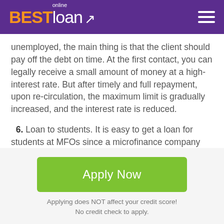BESTloan online — Apply Now
unemployed, the main thing is that the client should pay off the debt on time. At the first contact, you can legally receive a small amount of money at a high-interest rate. But after timely and full repayment, upon re-circulation, the maximum limit is gradually increased, and the interest rate is reduced.
6. Loan to students. It is easy to get a loan for students at MFOs since a microfinance company does not need to present certificates of wages. For
Apply Now
Applying does NOT affect your credit score!
No credit check to apply.